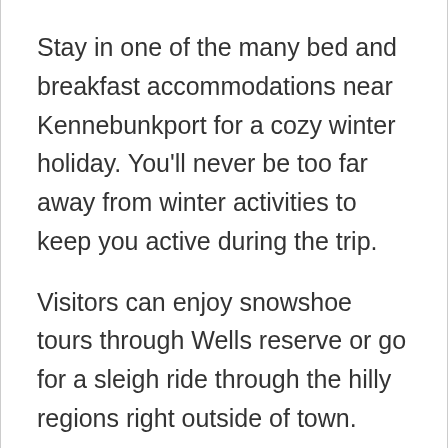Stay in one of the many bed and breakfast accommodations near Kennebunkport for a cozy winter holiday. You'll never be too far away from winter activities to keep you active during the trip.
Visitors can enjoy snowshoe tours through Wells reserve or go for a sleigh ride through the hilly regions right outside of town.
Many farms are located nearby Kennebunkport that receive complete makeovers for the holidays.